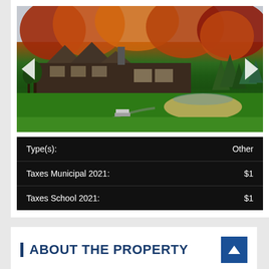[Figure (photo): Exterior photo of a large lodge-style building with stone and wood construction, set against autumn foliage hillside with red, orange, and yellow trees. A golf course with sand trap is in the foreground, with golf carts on a path. Navigation arrows on left and right sides.]
| Type(s): | Other |
| Taxes Municipal 2021: | $1 |
| Taxes School 2021: | $1 |
ABOUT THE PROPERTY